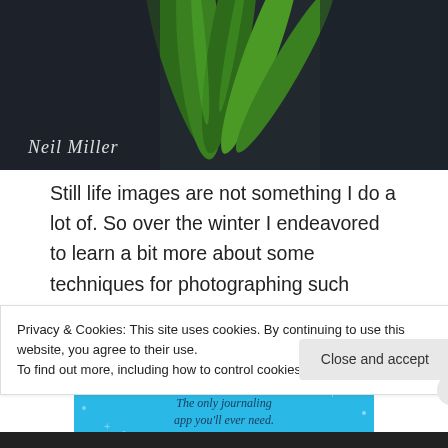[Figure (photo): Close-up still life photograph of green tulip stems/leaves against a dark background, with a cursive watermark signature 'Neil Miller' in the lower left]
Still life images are not something I do a lot of. So over the winter I endeavored to learn a bit more about some techniques for photographing such scenes.
[Figure (screenshot): Advertisement for 'DAY ONE' app on a blue background with sparkles/stars decoration. Text reads: 'DAY ONE - The only journaling app you'll ever need.']
Privacy & Cookies: This site uses cookies. By continuing to use this website, you agree to their use.
To find out more, including how to control cookies, see here: Cookie Policy